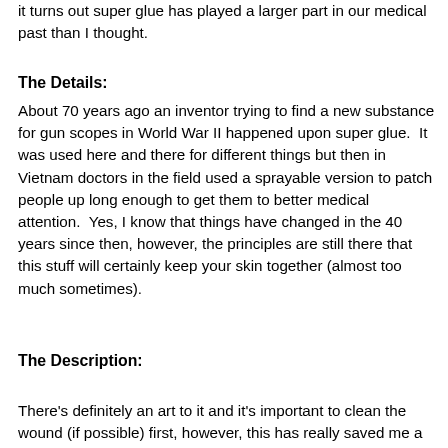it turns out super glue has played a larger part in our medical past than I thought.
The Details:
About 70 years ago an inventor trying to find a new substance for gun scopes in World War II happened upon super glue.  It was used here and there for different things but then in Vietnam doctors in the field used a sprayable version to patch people up long enough to get them to better medical attention.  Yes, I know that things have changed in the 40 years since then, however, the principles are still there that this stuff will certainly keep your skin together (almost too much sometimes).
The Description:
There's definitely an art to it and it's important to clean the wound (if possible) first, however, this has really saved me a